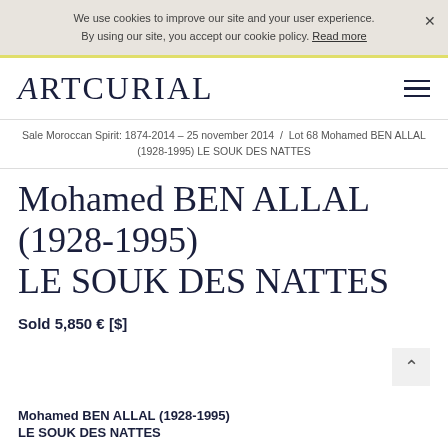We use cookies to improve our site and your user experience. By using our site, you accept our cookie policy. Read more
ARTCURIAL
Sale Moroccan Spirit: 1874-2014 – 25 november 2014 / Lot 68 Mohamed BEN ALLAL (1928-1995) LE SOUK DES NATTES
Mohamed BEN ALLAL (1928-1995) LE SOUK DES NATTES
Sold 5,850 € [$]
Mohamed BEN ALLAL (1928-1995)
LE SOUK DES NATTES